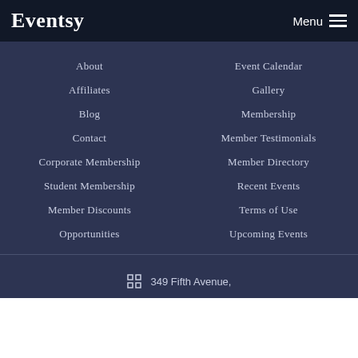Eventsy   Menu
About
Event Calendar
Affiliates
Gallery
Blog
Membership
Contact
Member Testimonials
Corporate Membership
Member Directory
Student Membership
Recent Events
Member Discounts
Terms of Use
Opportunities
Upcoming Events
349 Fifth Avenue,